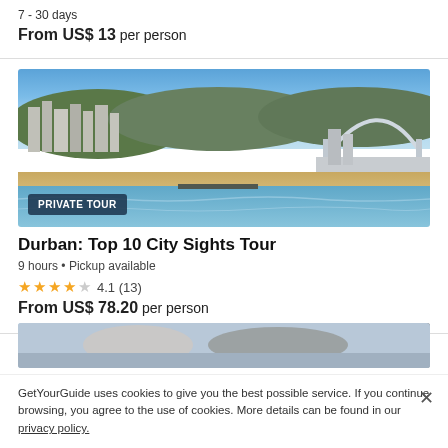7 - 30 days
From US$ 13 per person
[Figure (photo): Aerial photo of Durban city skyline with beachfront, skyscrapers, and Moses Mabhida Stadium arch visible in the background]
Durban: Top 10 City Sights Tour
9 hours • Pickup available
4.1 (13)
From US$ 78.20 per person
[Figure (photo): Partial photo of another tour listing below]
GetYourGuide uses cookies to give you the best possible service. If you continue browsing, you agree to the use of cookies. More details can be found in our privacy policy.